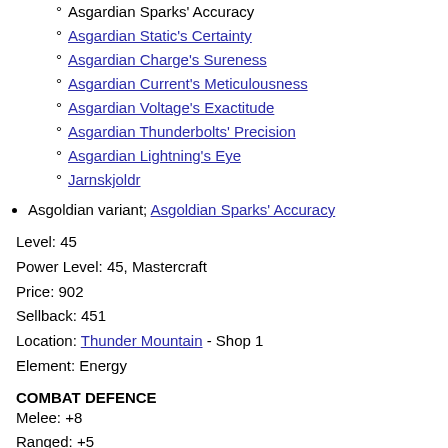Asgardian Sparks' Accuracy
Asgardian Static's Certainty
Asgardian Charge's Sureness
Asgardian Current's Meticulousness
Asgardian Voltage's Exactitude
Asgardian Thunderbolts' Precision
Asgardian Lightning's Eye
Jarnskjoldr
Asgoldian variant; Asgoldian Sparks' Accuracy
Level: 45
Power Level: 45, Mastercraft
Price: 902
Sellback: 451
Location: Thunder Mountain - Shop 1
Element: Energy
COMBAT DEFENCE
Melee: +8
Ranged: +5
Magic: +5
ELEMENTAL MODIFIER
Fire: +0%
Water: +0%
Wind: +0%
Ice: -7%
Earth: +0%